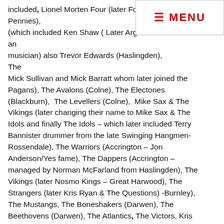included, Lionel Morten Four (later Four Pennies), (which included Ken Shaw ( Later Argent fame and musician) also Trevor Edwards (Haslingden), The Mick Sullivan and Mick Barratt whom later joined the Pagans), The Avalons (Colne), The Electones (Blackburn), The Levellers (Colne), Mike Sax & The Vikings (later changing their name to Mike Sax & The Idols and finally The Idols – which later included Terry Bannister drummer from the late Swinging Hangmen-Rossendale), The Warriors (Accrington – Jon Anderson/Yes fame), The Dappers (Accrington – managed by Norman McFarland from Haslingden), The Vikings (later Nosmo Kings – Great Harwood), The Strangers (later Kris Ryan & The Questions) -Burnley), The Mustangs, The Boneshakers (Darwen), The Beethovens (Darwen), The Atlantics, The Victors, Kris Ryan & The Questions (Blackburn & Burnley), Dr. Pill & The Purple Hearts, Curt's Creatures. The Soundcasters (Accrington).
Other local East Lancs gigs that had bands on them days and which I would occasionally book were: Majestic Ballroom-Accrington (Mon & Sat), The Majestic Ballroom, Baroldswick (Sun noon), The Arts on Knowlemere St Accrington (Bands on Sundays), Cavern Club- Milnshaw Ln – Accrington (run by a ex